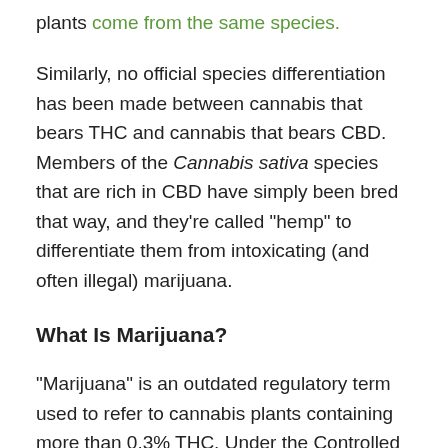plants come from the same species.
Similarly, no official species differentiation has been made between cannabis that bears THC and cannabis that bears CBD. Members of the Cannabis sativa species that are rich in CBD have simply been bred that way, and they’re called “hemp” to differentiate them from intoxicating (and often illegal) marijuana.
What Is Marijuana?
“Marijuana” is an outdated regulatory term used to refer to cannabis plants containing more than 0.3% THC. Under the Controlled Substances Act of 1971, marijuana is considered a Schedule I drug, the category carrying the harshest legal penalties and designed only to pertain to substances with no medical properties whatsoever.